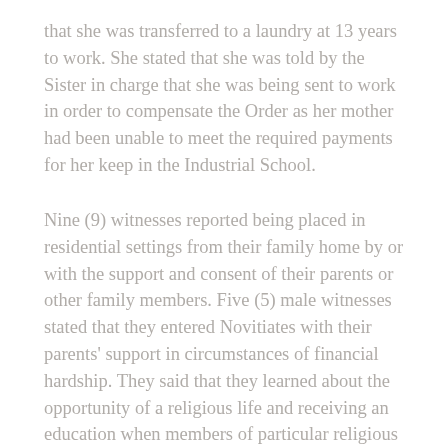that she was transferred to a laundry at 13 years to work. She stated that she was told by the Sister in charge that she was being sent to work in order to compensate the Order as her mother had been unable to meet the required payments for her keep in the Industrial School.
Nine (9) witnesses reported being placed in residential settings from their family home by or with the support and consent of their parents or other family members. Five (5) male witnesses stated that they entered Novitiates with their parents' support in circumstances of financial hardship. They said that they learned about the opportunity of a religious life and receiving an education when members of particular religious Orders visited their primary schools to recruit boys to join their